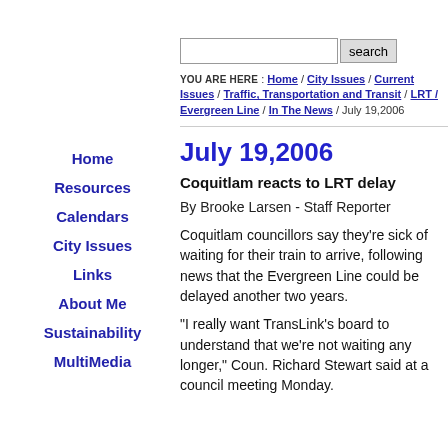Home
Resources
Calendars
City Issues
Links
About Me
Sustainability
MultiMedia
YOU ARE HERE : Home / City Issues / Current Issues / Traffic, Transportation and Transit / LRT / Evergreen Line / In The News / July 19,2006
July 19,2006
Coquitlam reacts to LRT delay
By Brooke Larsen - Staff Reporter
Coquitlam councillors say they're sick of waiting for their train to arrive, following news that the Evergreen Line could be delayed another two years.
"I really want TransLink's board to understand that we're not waiting any longer," Coun. Richard Stewart said at a council meeting Monday.